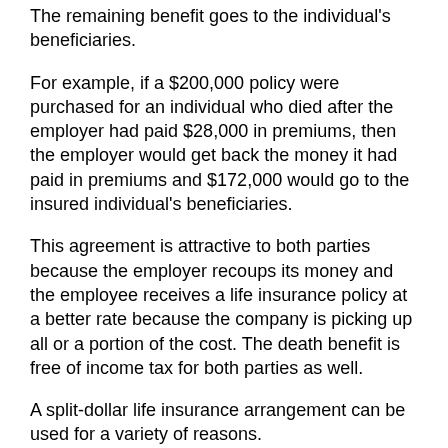The remaining benefit goes to the individual's beneficiaries.
For example, if a $200,000 policy were purchased for an individual who died after the employer had paid $28,000 in premiums, then the employer would get back the money it had paid in premiums and $172,000 would go to the insured individual's beneficiaries.
This agreement is attractive to both parties because the employer recoups its money and the employee receives a life insurance policy at a better rate because the company is picking up all or a portion of the cost. The death benefit is free of income tax for both parties as well.
A split-dollar life insurance arrangement can be used for a variety of reasons.
It can be used to fund a buy-sell agreement.
It can help recruit and retain quality executives.
Business owners who might not otherwise be able to afford life insurance might benefit from a